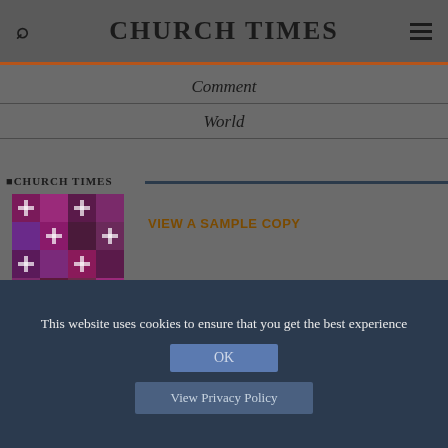CHURCH TIMES
Comment
World
[Figure (screenshot): Church Times magazine cover showing religious emblems and crosses in purple and red pattern]
VIEW A SAMPLE COPY
Subscribe >
This website uses cookies to ensure that you get the best experience
OK
View Privacy Policy